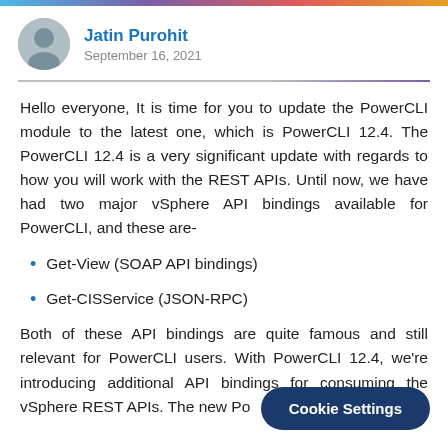Jatin Purohit — September 16, 2021
Hello everyone, It is time for you to update the PowerCLI module to the latest one, which is PowerCLI 12.4. The PowerCLI 12.4 is a very significant update with regards to how you will work with the REST APIs. Until now, we have had two major vSphere API bindings available for PowerCLI, and these are-
Get-View (SOAP API bindings)
Get-CISService (JSON-RPC)
Both of these API bindings are quite famous and still relevant for PowerCLI users. With PowerCLI 12.4, we're introducing additional API bindings for consuming the vSphere REST APIs. The new Po